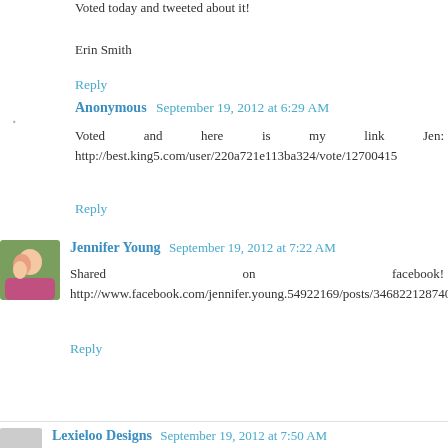Voted today and tweeted about it!
Erin Smith
Reply
Anonymous  September 19, 2012 at 6:29 AM
Voted and here is my link Jen: http://best.king5.com/user/220a721e113ba324/vote/12700415
Reply
Jennifer Young  September 19, 2012 at 7:22 AM
Shared on facebook! http://www.facebook.com/jennifer.young.54922169/posts/346822128740843
Reply
Lexieloo Designs  September 19, 2012 at 7:50 AM